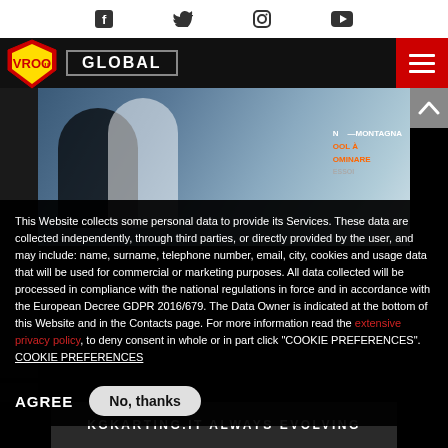Social media icons: Facebook, Twitter, Instagram, YouTube
[Figure (screenshot): Website navigation bar with VROO logo/shield, GLOBAL label, and hamburger menu button on red background]
[Figure (photo): Two people in what appears to be an indoor setting with a mountain-themed banner in background showing text MONTAGNA, DOMINARE]
This Website collects some personal data to provide its Services. These data are collected independently, through third parties, or directly provided by the user, and may include: name, surname, telephone number, email, city, cookies and usage data that will be used for commercial or marketing purposes. All data collected will be processed in compliance with the national regulations in force and in accordance with the European Decree GDPR 2016/679. The Data Owner is indicated at the bottom of this Website and in the Contacts page. For more information read the extensive privacy policy, to deny consent in whole or in part click "COOKIE PREFERENCES". COOKIE PREFERENCES
AGREE   No, thanks
KGKARTING.IT ALWAYS EVOLVING